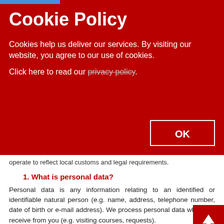[Figure (screenshot): Cookie Policy overlay banner with dark red background, showing title, description text, privacy policy link, and OK button]
Cookie Policy
Cookies help us deliver our services. By visiting our website, you agree to our use of cookies.
Click here to read our privacy policy.
operate to reflect local customs and legal requirements.
1. What is personal data?
Personal data is any information relating to an identified or identifiable natural person (e.g. name, address, telephone number, date of birth or e-mail address). We process personal data which we receive from you (e.g. visiting courses, requests).
To the extent necessary for the performance of our services or the contract between you and CEIRS, we also process personal data